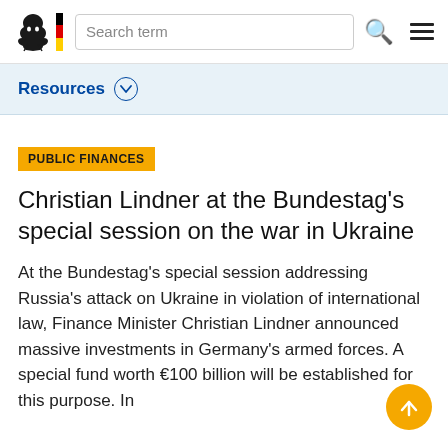Search term [search icon] [menu icon]
Resources
PUBLIC FINANCES
Christian Lindner at the Bundestag’s special session on the war in Ukraine
At the Bundestag’s special session addressing Russia’s attack on Ukraine in violation of international law, Finance Minister Christian Lindner announced massive investments in Germany’s armed forces. A special fund worth €100 billion will be established for this purpose. In